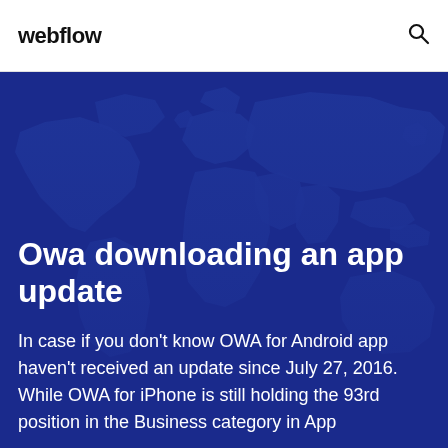webflow
[Figure (illustration): Dark blue world map background image covering the hero section of the webpage]
Owa downloading an app update
In case if you don't know OWA for Android app haven't received an update since July 27, 2016. While OWA for iPhone is still holding the 93rd position in the Business category in App